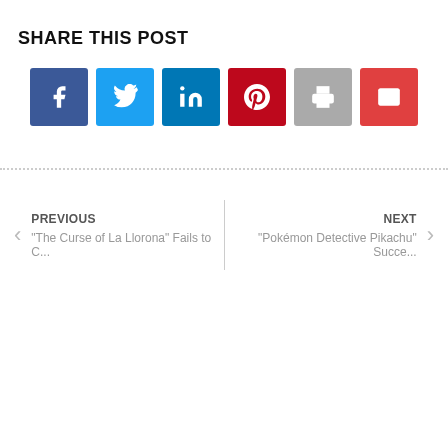SHARE THIS POST
[Figure (infographic): Six social share buttons: Facebook (dark blue), Twitter (light blue), LinkedIn (blue), Pinterest (dark red), Print (gray), Email (red)]
Prev: "The Curse of La Llorona" Fails to C...
Next: "Pokémon Detective Pikachu" Succe...